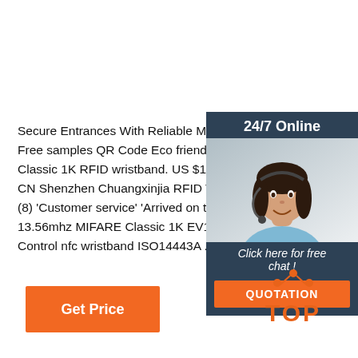Secure Entrances With Reliable Mifare 4k Rfid Wris... Free samples QR Code Eco friendly Silicone Wristb... Classic 1K RFID wristband. US $1.20 Piece. 100 Pi... CN Shenzhen Chuangxinjia RFID Tag Co., Ltd. 11 Y... (8) 'Customer service' 'Arrived on time' Contact Sup... 13.56mhz MIFARE Classic 1K EV1 rfid wristband G... Control nfc wristband ISO14443A ...
[Figure (photo): Customer service agent woman with headset smiling, inside a dark blue sidebar panel labeled 24/7 Online with a Click here for free chat! message and QUOTATION button]
Get Price
[Figure (logo): TOP logo with orange dots arranged in an arc above the word TOP in orange bold text]